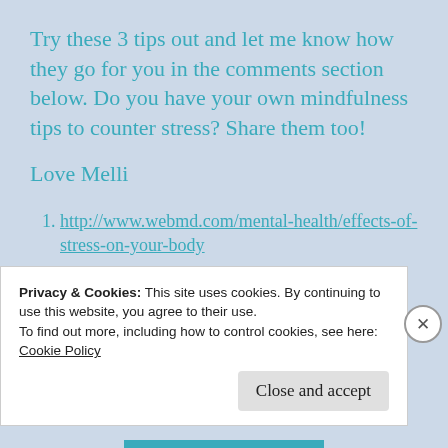Try these 3 tips out and let me know how they go for you in the comments section below. Do you have your own mindfulness tips to counter stress? Share them too!
Love Melli
1. http://www.webmd.com/mental-health/effects-of-stress-on-your-body
2. http://www.psychologytoday.com/blog/min
Privacy & Cookies: This site uses cookies. By continuing to use this website, you agree to their use.
To find out more, including how to control cookies, see here:
Cookie Policy
Close and accept